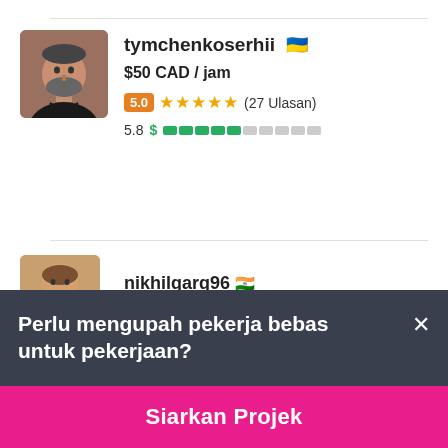[Figure (photo): Profile avatar photo of tymchenkoserhii - male with beard]
tymchenkoserhii 🇺🇦
$50 CAD / jam
5.0 ★★★★★ (27 Ulasan)
5.8 $ ▓▓▓▓▓░░░░░
[Figure (photo): Profile avatar photo of nikhilgarg96]
nikhilgarg96 🇮🇳
Perlu mengupah pekerja bebas untuk pekerjaan?
Siarkan Projek